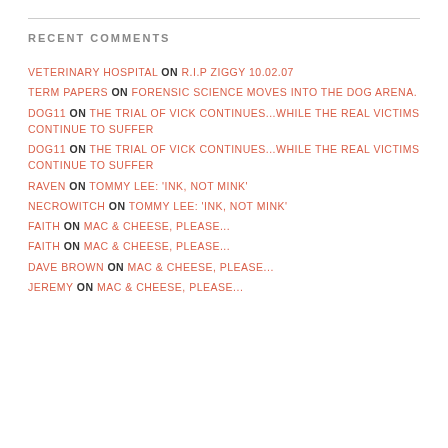RECENT COMMENTS
VETERINARY HOSPITAL ON R.I.P ZIGGY 10.02.07
TERM PAPERS ON FORENSIC SCIENCE MOVES INTO THE DOG ARENA.
DOG11 ON THE TRIAL OF VICK CONTINUES...WHILE THE REAL VICTIMS CONTINUE TO SUFFER
DOG11 ON THE TRIAL OF VICK CONTINUES...WHILE THE REAL VICTIMS CONTINUE TO SUFFER
RAVEN ON TOMMY LEE: 'INK, NOT MINK'
NECROWITCH ON TOMMY LEE: 'INK, NOT MINK'
FAITH ON MAC & CHEESE, PLEASE...
FAITH ON MAC & CHEESE, PLEASE...
DAVE BROWN ON MAC & CHEESE, PLEASE...
JEREMY ON MAC & CHEESE, PLEASE...